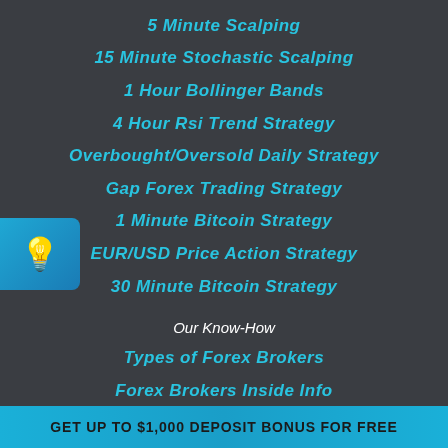5 Minute Scalping
15 Minute Stochastic Scalping
1 Hour Bollinger Bands
4 Hour Rsi Trend Strategy
Overbought/Oversold Daily Strategy
Gap Forex Trading Strategy
1 Minute Bitcoin Strategy
EUR/USD Price Action Strategy
30 Minute Bitcoin Strategy
Our Know-How
Types of Forex Brokers
Forex Brokers Inside Info
GET UP TO $1,000 DEPOSIT BONUS FOR FREE